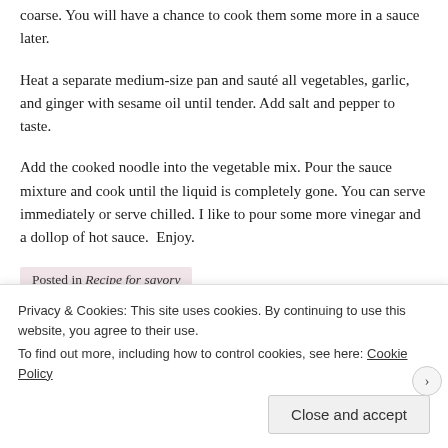coarse. You will have a chance to cook them some more in a sauce later.
Heat a separate medium-size pan and sauté all vegetables, garlic, and ginger with sesame oil until tender. Add salt and pepper to taste.
Add the cooked noodle into the vegetable mix. Pour the sauce mixture and cook until the liquid is completely gone. You can serve immediately or serve chilled. I like to pour some more vinegar and a dollop of hot sauce.  Enjoy.
Posted in Recipe for savory
Tagged chapchae, extreme couponing, food, Korean, noodle
Privacy & Cookies: This site uses cookies. By continuing to use this website, you agree to their use.
To find out more, including how to control cookies, see here: Cookie Policy
Close and accept